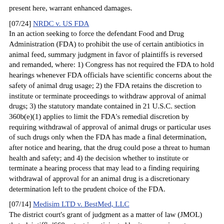present here, warrant enhanced damages.
[07/24] NRDC v. US FDA
In an action seeking to force the defendant Food and Drug Administration (FDA) to prohibit the use of certain antibiotics in animal feed, summary judgment in favor of plaintiffs is reversed and remanded, where: 1) Congress has not required the FDA to hold hearings whenever FDA officials have scientific concerns about the safety of animal drug usage; 2) the FDA retains the discretion to institute or terminate proceedings to withdraw approval of animal drugs; 3) the statutory mandate contained in 21 U.S.C. section 360b(e)(1) applies to limit the FDA's remedial discretion by requiring withdrawal of approval of animal drugs or particular uses of such drugs only when the FDA has made a final determination, after notice and hearing, that the drug could pose a threat to human health and safety; and 4) the decision whether to institute or terminate a hearing process that may lead to a finding requiring withdrawal of approval for an animal drug is a discretionary determination left to the prudent choice of the FDA.
[07/14] Medisim LTD v. BestMed, LLC
The district court's grant of judgment as a matter of law (JMOL) that plaintiff's '668 patent is anticipated by its own prior art thermometer and in favor of defendant on plaintiff's unjust enrichment claim is: 1) vacated in part and remanded, where defendant failed to preserve its right to JMOL on anticipation; but 2) affirmed in part with regard to the unjust enrichment claim and its conditional grant of a new trial on anticipation